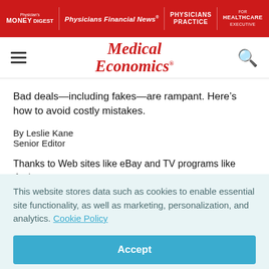Physician's Money Digest | Physicians Financial News | PHYSICIANS PRACTICE | FOR HEALTHCARE EXECUTIVE
[Figure (logo): Medical Economics logo with hamburger menu and search icon]
Bad deals—including fakes—are rampant. Here’s how to avoid costly mistakes.
By Leslie Kane
Senior Editor
Thanks to Web sites like eBay and TV programs like Antiques
This website stores data such as cookies to enable essential site functionality, as well as marketing, personalization, and analytics. Cookie Policy
Accept
Deny